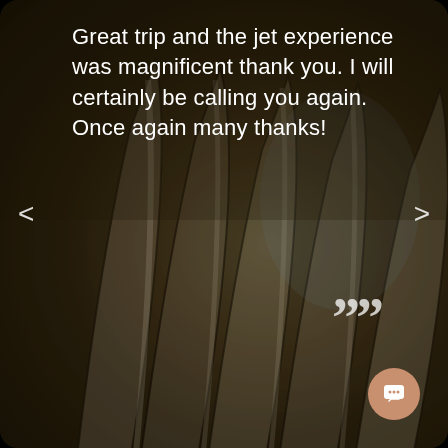[Figure (photo): Background photo of jet engine fan blades/turbine in close-up, metallic silver tones with dark olive/brown overlay, serving as backdrop for a customer testimonial carousel slide.]
Great trip and the jet experience was magnificent thank you. I will certainly be calling you again. Once again many thanks!
<
””
>